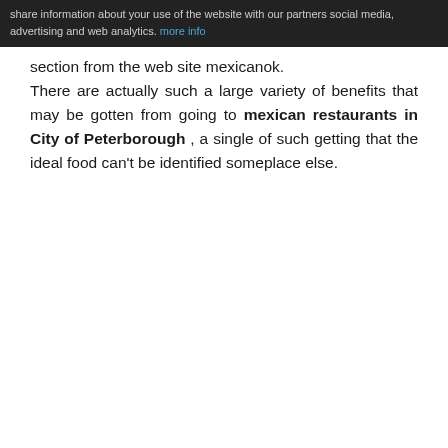share information about your use of the website with our partners social media, advertising and web analytics. more info
section from the web site mexicanok. There are actually such a large variety of benefits that may be gotten from going to mexican restaurants in City of Peterborough , a single of such getting that the ideal food can't be identified someplace else.